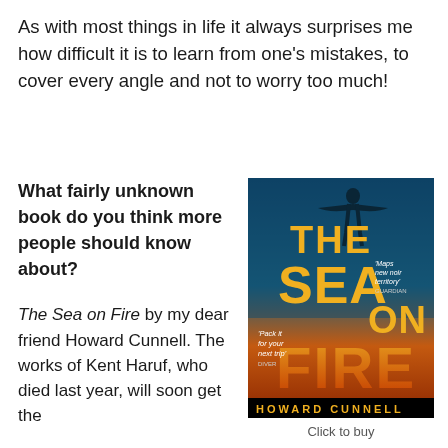As with most things in life it always surprises me how difficult it is to learn from one's mistakes, to cover every angle and not to worry too much!
What fairly unknown book do you think more people should know about?
The Sea on Fire by my dear friend Howard Cunnell. The works of Kent Haruf, who died last year, will soon get the recognition they deserve.
[Figure (photo): Book cover of 'The Sea on Fire' by Howard Cunnell. Dark blue underwater background with a silhouette of a person with outstretched arms. Large yellow text reads 'THE SEA ON FIRE'. Pull quotes: 'Maps new noir territory' - GUARDIAN; 'Pack it for your next trip' - DIVER. Author name HOWARD CUNNELL at the bottom.]
Click to buy